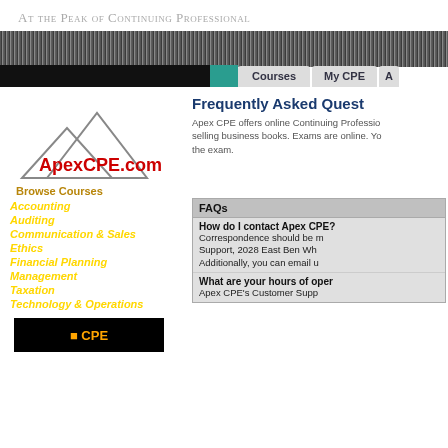At the Peak of Continuing Professional
[Figure (screenshot): Navigation bar with gray striped pattern, black left section, teal block, and tabs for Courses and My CPE]
[Figure (logo): ApexCPE.com logo with mountain peaks illustration and red text]
Browse Courses
Accounting
Auditing
Communication & Sales
Ethics
Financial Planning
Management
Taxation
Technology & Operations
Frequently Asked Quest
Apex CPE offers online Continuing Professio... selling business books. Exams are online. Yo... the exam.
| FAQs |
| --- |
| How do I contact Apex CPE? |
| Correspondence should be m... Support, 2028 East Ben Wh... Additionally, you can email u... |
| What are your hours of oper... |
| Apex CPE's Customer Supp... |
[Figure (logo): Bottom banner image with orange text on black background]